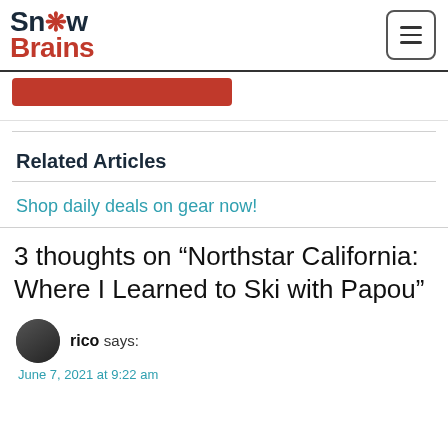SnowBrains
Related Articles
Shop daily deals on gear now!
3 thoughts on “Northstar California: Where I Learned to Ski with Papou”
rico says:
June 7, 2021 at 9:22 am